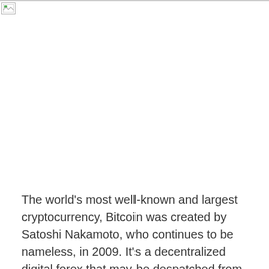[Figure (photo): Image placeholder with broken image icon in top-left corner, large white area representing a cryptocurrency-related image]
The world’s most well-known and largest cryptocurrency, Bitcoin was created by Satoshi Nakamoto, who continues to be nameless, in 2009. It’s a decentralized digital forex that may be despatched from one to a different through the use of a peer-to-